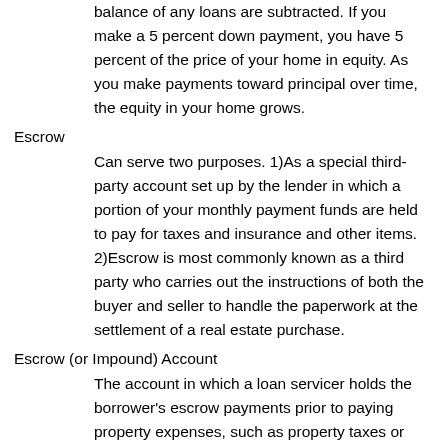balance of any loans are subtracted. If you make a 5 percent down payment, you have 5 percent of the price of your home in equity. As you make payments toward principal over time, the equity in your home grows.
Escrow
Can serve two purposes. 1)As a special third-party account set up by the lender in which a portion of your monthly payment funds are held to pay for taxes and insurance and other items. 2)Escrow is most commonly known as a third party who carries out the instructions of both the buyer and seller to handle the paperwork at the settlement of a real estate purchase.
Escrow (or Impound) Account
The account in which a loan servicer holds the borrower's escrow payments prior to paying property expenses, such as property taxes or